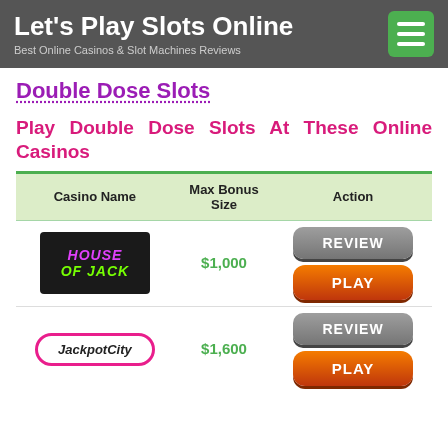Let's Play Slots Online — Best Online Casinos & Slot Machines Reviews
Double Dose Slots
Play Double Dose Slots At These Online Casinos
| Casino Name | Max Bonus Size | Action |
| --- | --- | --- |
| House of Jack | $1,000 | REVIEW / PLAY |
| JackpotCity | $1,600 | REVIEW / PLAY |